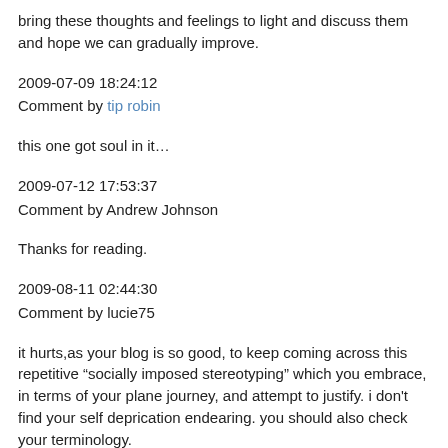bring these thoughts and feelings to light and discuss them and hope we can gradually improve.
2009-07-09 18:24:12
Comment by tip robin
this one got soul in it…
2009-07-12 17:53:37
Comment by Andrew Johnson
Thanks for reading.
2009-08-11 02:44:30
Comment by lucie75
it hurts,as your blog is so good, to keep coming across this repetitive “socially imposed stereotyping” which you embrace, in terms of your plane journey, and attempt to justify. i don't find your self deprication endearing. you should also check your terminology.